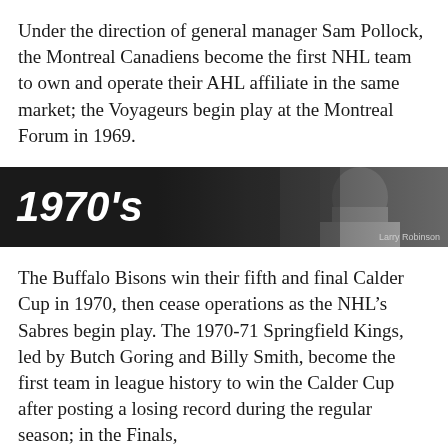Under the direction of general manager Sam Pollock, the Montreal Canadiens become the first NHL team to own and operate their AHL affiliate in the same market; the Voyageurs begin play at the Montreal Forum in 1969.
[Figure (photo): Black and white banner image reading '1970's' in bold italic white text on dark background, with a photo of Larry Robinson on the right side. Photo credit: Larry Robinson.]
The Buffalo Bisons win their fifth and final Calder Cup in 1970, then cease operations as the NHL's Sabres begin play. The 1970-71 Springfield Kings, led by Butch Goring and Billy Smith, become the first team in league history to win the Calder Cup after posting a losing record during the regular season; in the Finals,